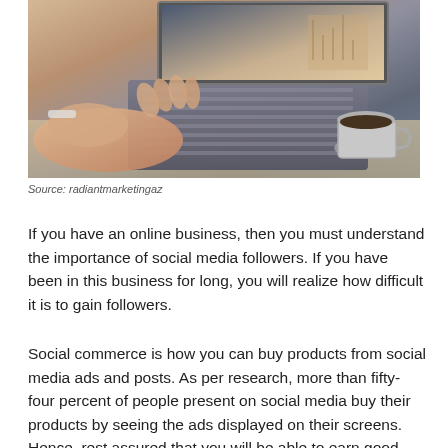[Figure (photo): Person typing on a laptop with a cup of coffee on the desk beside them]
Source: radiantmarketingaz
If you have an online business, then you must understand the importance of social media followers. If you have been in this business for long, you will realize how difficult it is to gain followers.
Social commerce is how you can buy products from social media ads and posts. As per research, more than fifty-four percent of people present on social media buy their products by seeing the ads displayed on their screens. Hence, rest assured that you will be able to earn good revenue by